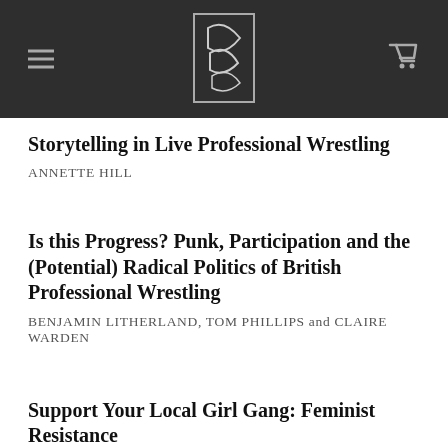navigation header with logo
Storytelling in Live Professional Wrestling
ANNETTE HILL
Is this Progress? Punk, Participation and the (Potential) Radical Politics of British Professional Wrestling
BENJAMIN LITHERLAND, TOM PHILLIPS and CLAIRE WARDEN
Support Your Local Girl Gang: Feminist Resistance